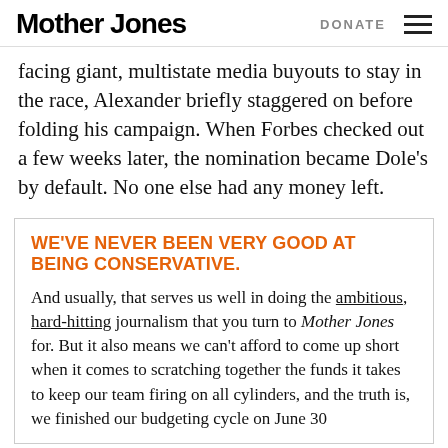Mother Jones | DONATE
facing giant, multistate media buyouts to stay in the race, Alexander briefly staggered on before folding his campaign. When Forbes checked out a few weeks later, the nomination became Dole’s by default. No one else had any money left.
WE’VE NEVER BEEN VERY GOOD AT BEING CONSERVATIVE.
And usually, that serves us well in doing the ambitious, hard-hitting journalism that you turn to Mother Jones for. But it also means we can't afford to come up short when it comes to scratching together the funds it takes to keep our team firing on all cylinders, and the truth is, we finished our budgeting cycle on June 30